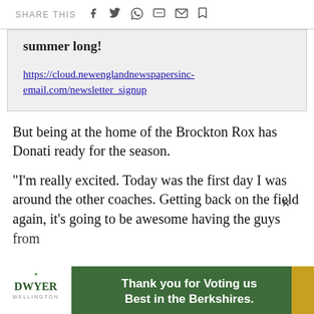SHARE THIS [social icons: facebook, twitter, whatsapp, chat, email, bookmark]
summer long!
https://cloud.newenglandnewspapersinc-email.com/newsletter_signup
But being at the home of the Brockton Rox has Donati ready for the season.
"I'm really excited. Today was the first day I was around the other coaches. Getting back on the field again, it's going to be awesome having the guys [from]
[Figure (infographic): Dwyer Wellington advertisement banner: green background with white bold text 'Thank you for Voting us Best in the Berkshires.' with Dwyer Wellington logo on left and Contact tab on right.]